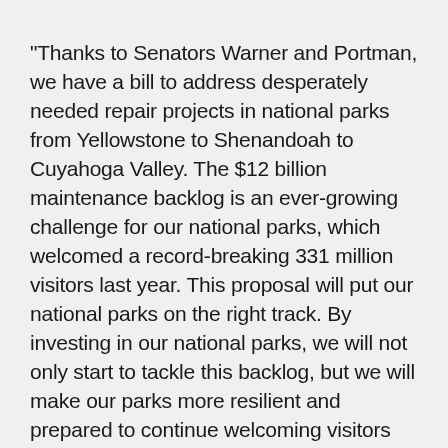“Thanks to Senators Warner and Portman, we have a bill to address desperately needed repair projects in national parks from Yellowstone to Shenandoah to Cuyahoga Valley. The $12 billion maintenance backlog is an ever-growing challenge for our national parks, which welcomed a record-breaking 331 million visitors last year. This proposal will put our national parks on the right track. By investing in our national parks, we will not only start to tackle this backlog, but we will make our parks more resilient and prepared to continue welcoming visitors eager to explore our nation’s most important natural and historic places. Last year, the National Park Service celebrated its